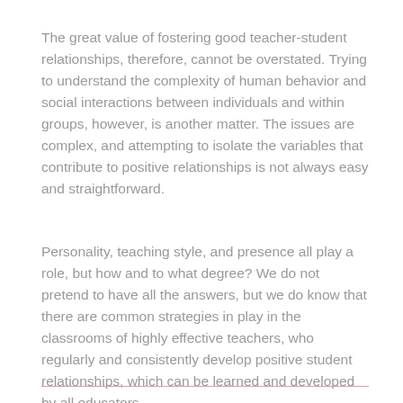The great value of fostering good teacher-student relationships, therefore, cannot be overstated. Trying to understand the complexity of human behavior and social interactions between individuals and within groups, however, is another matter. The issues are complex, and attempting to isolate the variables that contribute to positive relationships is not always easy and straightforward.
Personality, teaching style, and presence all play a role, but how and to what degree? We do not pretend to have all the answers, but we do know that there are common strategies in play in the classrooms of highly effective teachers, who regularly and consistently develop positive student relationships, which can be learned and developed by all educators.